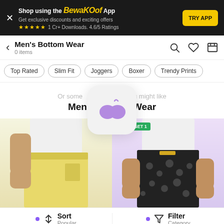Shop using the Bewakoof App - Get exclusive discounts and exciting offers - 1 Cr+ Downloads. 4.6/5 Ratings - TRY APP
Men's Bottom Wear
0 items
Top Rated
Slim Fit
Joggers
Boxer
Trendy Prints
Or some thing you might like
Men's Bottom Wear
[Figure (logo): Bewakoof app logo icon showing two purple circles with a small curved line above, on a light grey rounded square background]
[Figure (photo): Two product photos: left shows a man wearing yellow/cream colored bottom wear shorts on white background; right shows a man wearing black printed boxer shorts on purple/lavender background with BUY 2 GET 1 badge]
Sort Popular   Filter Category